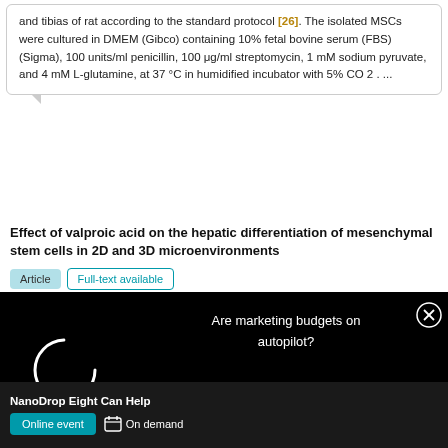and tibias of rat according to the standard protocol [26]. The isolated MSCs were cultured in DMEM (Gibco) containing 10% fetal bovine serum (FBS) (Sigma), 100 units/ml penicillin, 100 μg/ml streptomycin, 1 mM sodium pyruvate, and 4 mM L-glutamine, at 37 °C in humidified incubator with 5% CO 2 . ...
Effect of valproic acid on the hepatic differentiation of mesenchymal stem cells in 2D and 3D microenvironments
Article   Full-text available
Feb 2021 · MOL CELL BIOCHEM
[Figure (screenshot): Dark ad overlay with loading spinner on left and text 'Are marketing budgets on autopilot?' with close X button on right]
NanoDrop Eight Can Help
Online event   On demand